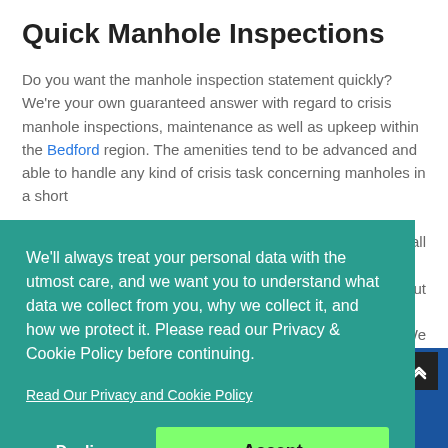Quick Manhole Inspections
Do you want the manhole inspection statement quickly? We're your own guaranteed answer with regard to crisis manhole inspections, maintenance as well as upkeep within the Bedford region. The amenities tend to be advanced and able to handle any kind of crisis task concerning manholes in a short
We'll always treat your personal data with the utmost care, and we want you to understand what data we collect from you, why we collect it, and how we protect it. Please read our Privacy & Cookie Policy before continuing.
Read Our Privacy and Cookie Policy
Decline
Accept
inspection organization.